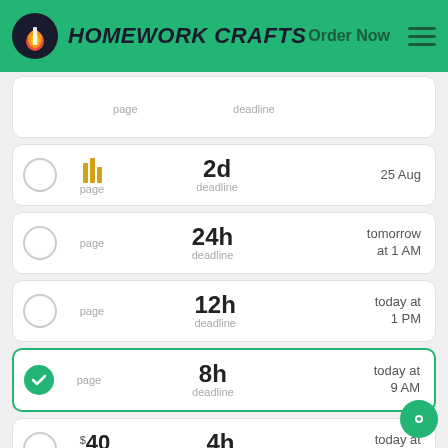HOMEWORK CRAFTS  Order Now
page | deadline (partial row, top)
2d deadline | 25 Aug
24h deadline | tomorrow at 1 AM
12h deadline | today at 1 PM
8h deadline | today at 9 AM (selected)
$40 page | 4h deadline | today at 5 AM